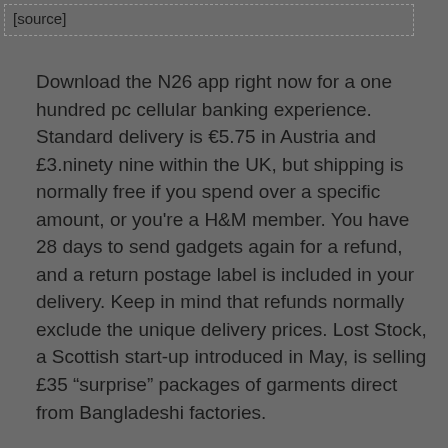[source]
Download the N26 app right now for a one hundred pc cellular banking experience. Standard delivery is €5.75 in Austria and £3.ninety nine within the UK, but shipping is normally free if you spend over a specific amount, or you're a H&M member. You have 28 days to send gadgets again for a refund, and a return postage label is included in your delivery. Keep in mind that refunds normally exclude the unique delivery prices. Lost Stock, a Scottish start-up introduced in May, is selling £35 “surprise” packages of garments direct from Bangladeshi factories.
Fast fashion merchandise is produced cheaply and priced cheaply. The clothes don’t last, but they’re not meant to—they’re typically